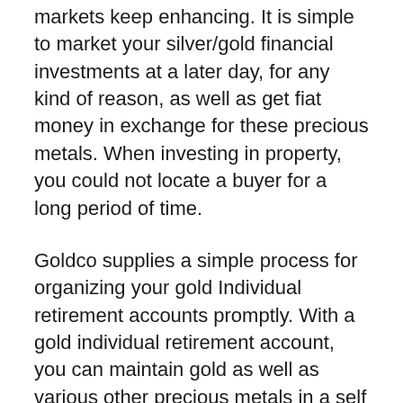markets keep enhancing. It is simple to market your silver/gold financial investments at a later day, for any kind of reason, as well as get fiat money in exchange for these precious metals. When investing in property, you could not locate a buyer for a long period of time.
Goldco supplies a simple process for organizing your gold Individual retirement accounts promptly. With a gold individual retirement account, you can maintain gold as well as various other precious metals in a self directed IRA, as opposed to bonds or stocks.
To sign up an account, check out the Goldco web site, complete the application with the